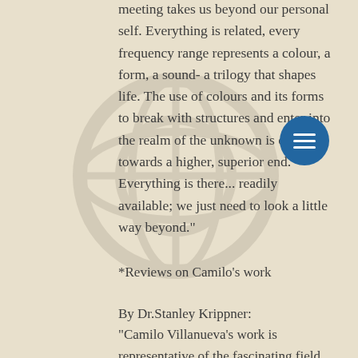meeting takes us beyond our personal self. Everything is related, every frequency range represents a colour, a form, a sound- a trilogy that shapes life. The use of colours and its forms to break with structures and enter into the realm of the unknown is our way towards a higher, superior end. Everything is there... readily available; we just need to look a little way beyond."
*Reviews on Camilo’s work
By Dr.Stanley Krippner:
"Camilo Villanueva's work is representative of the fascinating field